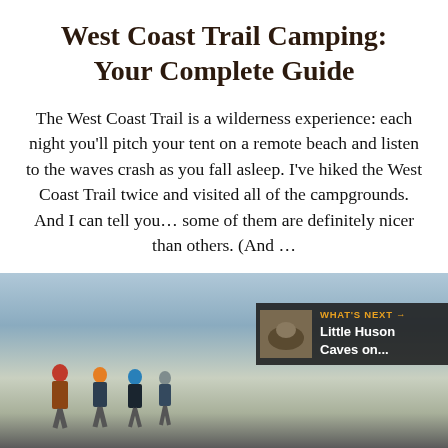West Coast Trail Camping: Your Complete Guide
The West Coast Trail is a wilderness experience: each night you'll pitch your tent on a remote beach and listen to the waves crash as you fall asleep. I've hiked the West Coast Trail twice and visited all of the campgrounds. And I can tell you… some of them are definitely nicer than others. (And …
READ MORE
[Figure (photo): Photograph of hikers on a remote beach with overcast sky. An overlay badge reads 'WHAT'S NEXT → Little Huson Caves on...' with a thumbnail image.]